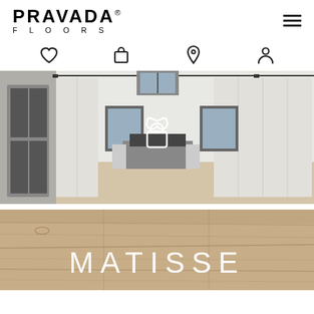[Figure (logo): Pravada Floors logo — bold PRAVADA with registered trademark, FLOORS in spaced caps below]
[Figure (screenshot): Hamburger menu icon (three horizontal lines)]
[Figure (screenshot): Four navigation icons: heart (wishlist), shopping bag, location pin, user/account]
[Figure (photo): Interior bedroom photo with light wood floors, white walls, barn doors, black framed windows. White heart and shopping bag overlay icons centered on image.]
[Figure (photo): Close-up of light oak wood floor planks with MATISSE text overlaid in large white letters]